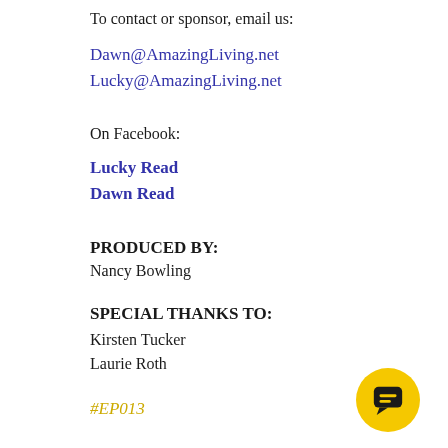To contact or sponsor, email us:
Dawn@AmazingLiving.net
Lucky@AmazingLiving.net
On Facebook:
Lucky Read
Dawn Read
PRODUCED BY:
Nancy Bowling
SPECIAL THANKS TO:
Kirsten Tucker
Laurie Roth
#EP013
[Figure (illustration): Yellow circular chat bubble icon with a speech bubble symbol inside]